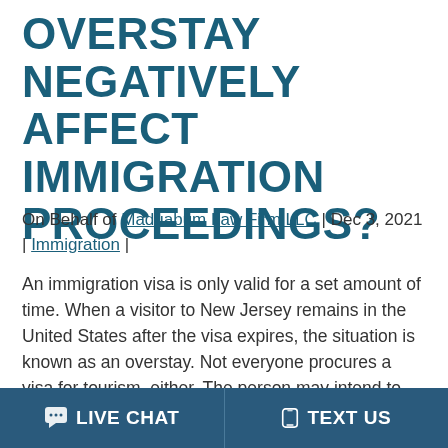OVERSTAY NEGATIVELY AFFECT IMMIGRATION PROCEEDINGS?
On Behalf of Maduabum Law Firm LLC | Dec 3, 2021 | Immigration |
An immigration visa is only valid for a set amount of time. When a visitor to New Jersey remains in the United States after the visa expires, the situation is known as an overstay. Not everyone procures a visa for tourism, either. The person may intend to emigrate to the United States and become a lawful...
LIVE CHAT   TEXT US